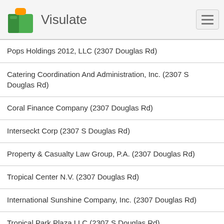Visulate
Pops Holdings 2012, LLC (2307 Douglas Rd)
Catering Coordination And Administration, Inc. (2307 S Douglas Rd)
Coral Finance Company (2307 Douglas Rd)
Interseckt Corp (2307 S Douglas Rd)
Property & Casualty Law Group, P.A. (2307 Douglas Rd)
Tropical Center N.V. (2307 Douglas Rd)
International Sunshine Company, Inc. (2307 Douglas Rd)
Tropical Park Plaza LLC (2307 S Douglas Rd)
Tropical Bird Road LLC (2307 S Douglas Rd)